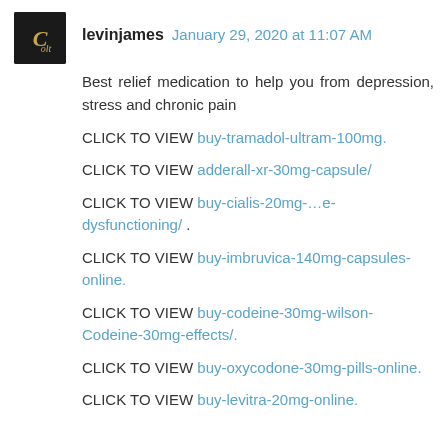[Figure (photo): Avatar/profile image with decorative script letter C on dark background]
levinjames  January 29, 2020 at 11:07 AM
Best relief medication to help you from depression, stress and chronic pain
CLICK TO VIEW buy-tramadol-ultram-100mg.
CLICK TO VIEW adderall-xr-30mg-capsule/
CLICK TO VIEW buy-cialis-20mg-…e-dysfunctioning/ .
CLICK TO VIEW buy-imbruvica-140mg-capsules-online.
CLICK TO VIEW buy-codeine-30mg-wilson-Codeine-30mg-effects/.
CLICK TO VIEW buy-oxycodone-30mg-pills-online.
CLICK TO VIEW buy-levitra-20mg-online.